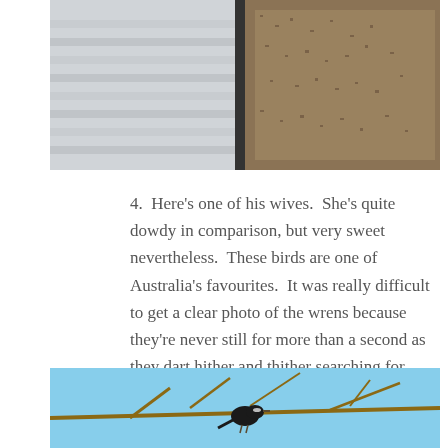[Figure (photo): Top portion of a photo showing what appears to be a building structure (white metal/corrugated surface on left) and brown mulch or nesting material on the right side]
4.  Here's one of his wives.  She's quite dowdy in comparison, but very sweet nevertheless.  These birds are one of Australia's favourites.  It was really difficult to get a clear photo of the wrens because they're never still for more than a second as they dart hither and thither searching for insects.
[Figure (photo): Bottom portion of a photo showing a small bird (likely an Australian wren) perched on bare branches against a blue sky background]